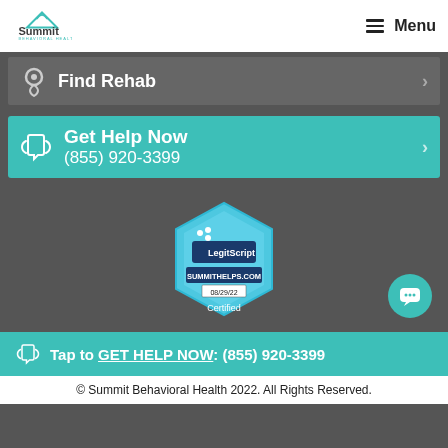Summit Behavioral Health — Menu
Find Rehab
Get Help Now (855) 920-3399
[Figure (logo): LegitScript Certified badge for SUMMITHELPS.COM 08/29/22]
Tap to GET HELP NOW: (855) 920-3399
© Summit Behavioral Health 2022. All Rights Reserved.